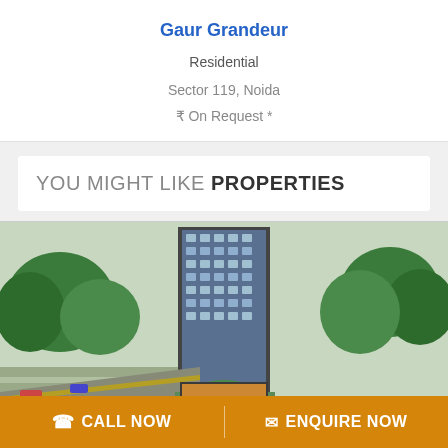Gaur Grandeur
Residential
Sector 119, Noida
₹ On Request *
YOU MIGHT LIKE PROPERTIES
[Figure (photo): Aerial view of a tall modern residential tower surrounded by trees and roads]
CALL NOW
ENQUIRE NOW